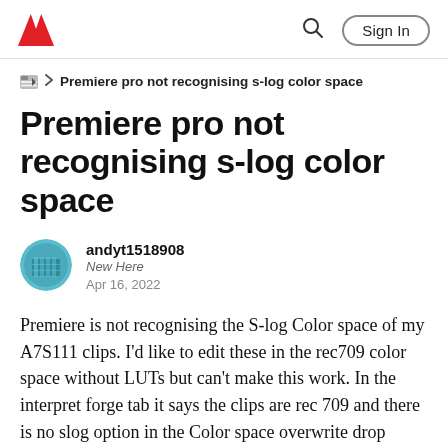Adobe | Sign In
> Premiere pro not recognising s-log color space
Premiere pro not recognising s-log color space
andyt1518908
New Here
Apr 16, 2022
Premiere is not recognising the S-log Color space of my A7S111 clips. I'd like to edit these in the rec709 color space without LUTs but can't make this work. In the interpret forge tab it says the clips are rec 709 and there is no slog option in the Color space overwrite drop down menu. Anybody also seen this?